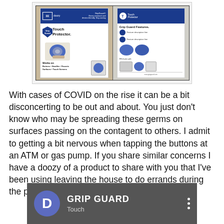[Figure (photo): Product photo showing front and back of 'Grip Guard Touch Protector' retail packaging. Left side shows the front of the box with a shield logo, blue branding, and a hand holding the device. Right side shows the back of the box with product features listed.]
With cases of COVID on the rise it can be a bit disconcerting to be out and about. You just don't know who may be spreading these germs on surfaces passing on the contagent to others. I admit to getting a bit nervous when tapping the buttons at an ATM or gas pump. If you share similar concerns I have a doozy of a product to share with you that I've been using leaving the house to do errands during the pandemic.
[Figure (screenshot): Video thumbnail showing a YouTube-style player with a purple 'D' avatar icon, 'GRIP GUARD' title text in white on dark background, and three vertical dots menu icon. Partially visible subtitle reads 'Touch' below.]